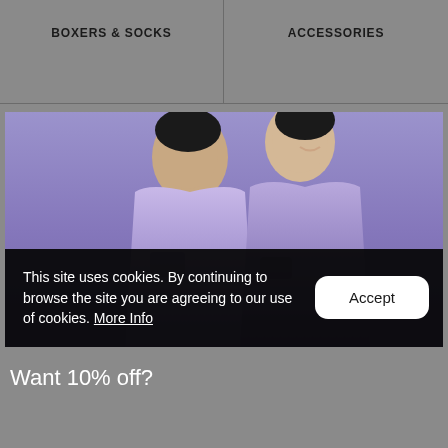BOXERS & SOCKS | ACCESSORIES
[Figure (photo): Two people wearing purple/lavender hoodies and sweatpants posing together against a purple background]
This site uses cookies. By continuing to browse the site you are agreeing to our use of cookies. More Info
Accept
Want 10% off?